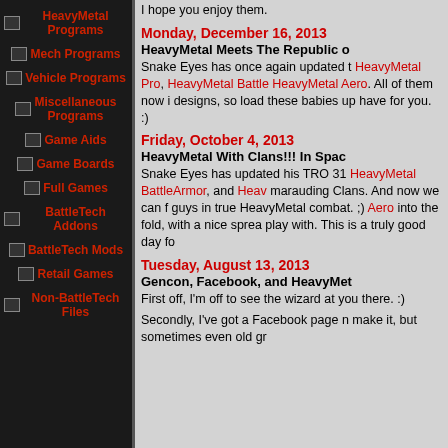HeavyMetal Programs
Mech Programs
Vehicle Programs
Miscellaneous Programs
Game Aids
Game Boards
Full Games
BattleTech Addons
BattleTech Mods
Retail Games
Non-BattleTech Files
I hope you enjoy them.
Monday, December 16, 2013
HeavyMetal Meets The Republic o...
Snake Eyes has once again updated t... HeavyMetal Pro, HeavyMetal Battle... HeavyMetal Aero. All of them now i... designs, so load these babies up have... for you. :)
Friday, October 4, 2013
HeavyMetal With Clans!!! In Spac...
Snake Eyes has updated his TRO 31... HeavyMetal BattleArmor, and Heav... marauding Clans. And now we can f... guys in true HeavyMetal combat. ;)... Aero into the fold, with a nice sprea... play with. This is a truly good day fo...
Tuesday, August 13, 2013
Gencon, Facebook, and HeavyMet...
First off, I'm off to see the wizard at... you there. :)
Secondly, I've got a Facebook page n... make it, but sometimes even old gr...